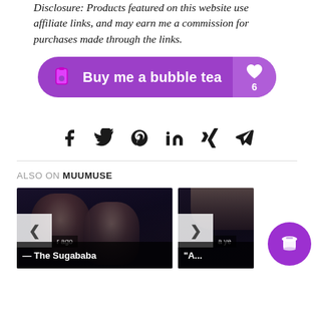Disclosure: Products featured on this website use affiliate links, and may earn me a commission for purchases made through the links.
[Figure (other): Purple 'Buy me a bubble tea' donation button with heart icon showing count of 6]
[Figure (other): Social share icons: Facebook, Twitter, Pinterest, LinkedIn, Xing, Telegram]
ALSO ON MUUMUSE
[Figure (photo): Two women posing for photo, card with navigation arrows and 'r ago' timestamp, title starting with 'The Sugababes']
[Figure (photo): Partial photo card with 'a ye' timestamp, title starting with 'A...']